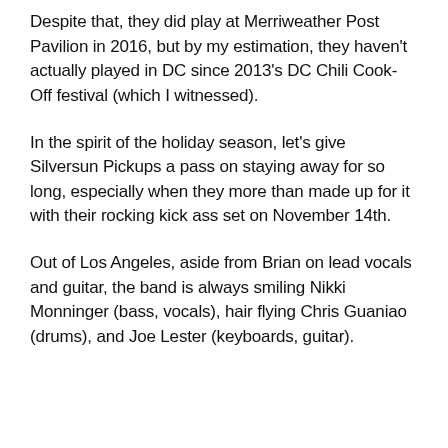Despite that, they did play at Merriweather Post Pavilion in 2016, but by my estimation, they haven't actually played in DC since 2013's DC Chili Cook-Off festival (which I witnessed).
In the spirit of the holiday season, let's give Silversun Pickups a pass on staying away for so long, especially when they more than made up for it with their rocking kick ass set on November 14th.
Out of Los Angeles, aside from Brian on lead vocals and guitar, the band is always smiling Nikki Monninger (bass, vocals), hair flying Chris Guaniao (drums), and Joe Lester (keyboards, guitar).